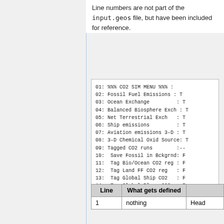Line numbers are not part of the input.geos file, but have been included for reference.
01: %%% CO2 SIM MENU %%% :
02: Fossil Fuel Emissions : T
03: Ocean Exchange : T
04: Balanced Biosphere Exch : T
05: Net Terrestrial Exch : T
06: Ship emissions : T
07: Aviation emissions 3-D : T
08: 3-D Chemical Oxid Source: T
09: Tagged CO2 runs :--
10:  Save Fossil in Bckgrnd: F
11:  Tag Bio/Ocean CO2 reg : F
12:  Tag Land FF CO2 reg   : F
13:  Tag Global Ship CO2   : F
14:  Tag Global Plane CO2  : F
| Line | What gets defined |  |
| --- | --- | --- |
| 1 | nothing | Head |